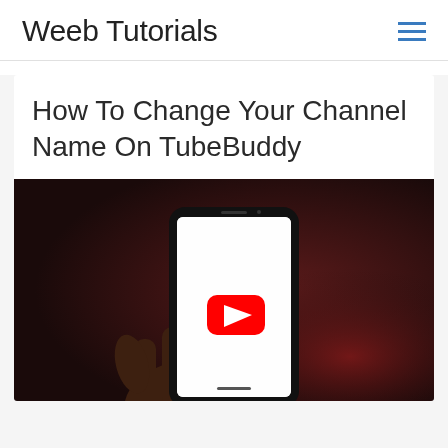Weeb Tutorials
How To Change Your Channel Name On TubeBuddy
[Figure (photo): A hand holding a smartphone displaying the YouTube logo on a white screen, against a dark reddish-brown background.]